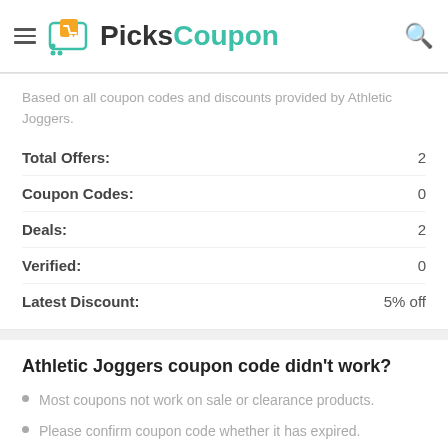PicksCoupon
Based on all coupon codes and discounts provided by Athletic Joggers.
|  |  |
| --- | --- |
| Total Offers: | 2 |
| Coupon Codes: | 0 |
| Deals: | 2 |
| Verified: | 0 |
| Latest Discount: | 5% off |
Athletic Joggers coupon code didn't work?
Most coupons not work on sale or clearance products.
Please confirm coupon code whether it has expired.
Some discount codes are only allowed to be used once or have restrictions on the order amount or only new customer discount.